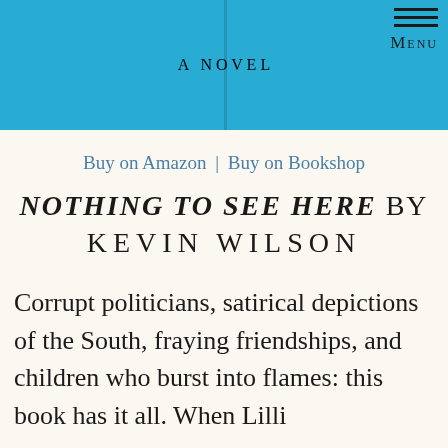[Figure (other): Blue banner header with text 'A NOVEL' centered in white letters and a hamburger menu icon with 'Menu' label on the right]
Buy on Amazon | Buy on Bookshop
NOTHING TO SEE HERE BY KEVIN WILSON
Corrupt politicians, satirical depictions of the South, fraying friendships, and children who burst into flames: this book has it all. When Lilli...